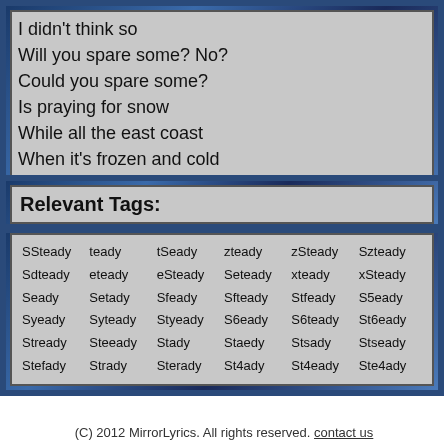I didn't think so
Will you spare some? No?
Could you spare some?
Is praying for snow
While all the east coast
When it's frozen and cold
You are Chicago
Relevant Tags:
SSteady teady tSeady zteady zSteady Szteady Sdteady eteady eSteady Seteady xteady xSteady Seady Setady Sfeady Sfteady Stfeady S5eady Syeady Syteady Styeady S6eady S6teady St6eady Stready Steeady Stady Staedy Stsady Stseady Stefady Strady Sterady St4ady St4eady Ste4ady
(C) 2012 MirrorLyrics. All rights reserved. contact us